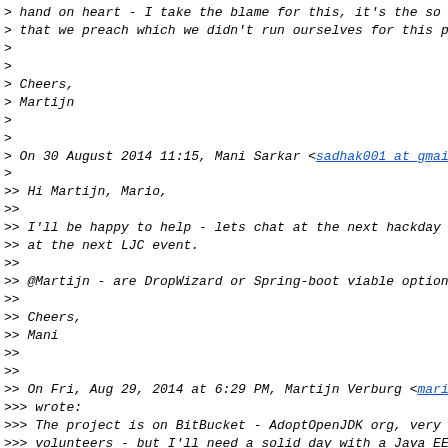> hand on heart - I take the blame for this, it's the so...
> that we preach which we didn't run ourselves for this p...
>
>
> Cheers,
> Martijn
>
>
> On 30 August 2014 11:15, Mani Sarkar <sadhak001 at gmai...
>
>> Hi Martijn, Mario,
>>
>> I'll be happy to help - lets chat at the next hackday
>> at the next LJC event.
>>
>> @Martijn - are DropWizard or Spring-boot viable option...
>>
>> Cheers,
>> Mani
>>
>>
>> On Fri, Aug 29, 2014 at 6:29 PM, Martijn Verburg <mari...
>>> wrote:
>>> The project is on BitBucket - AdoptOpenJDK org, very...
>>> volunteers - but I'll need a solid day with a Java EE...
>>> first (I'm familiar enough with Java EE - but a migra...
>>> an
>>> extra pair of eyes).
>>>
>>> Cheers,
>>> Martijn